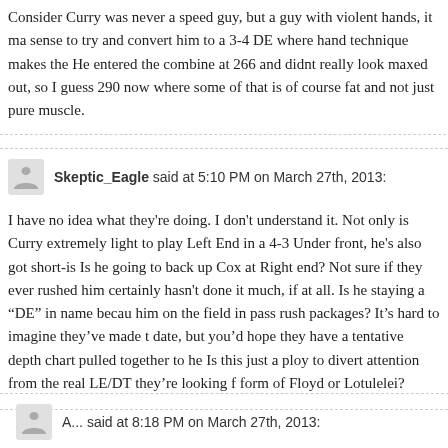Consider Curry was never a speed guy, but a guy with violent hands, it ma sense to try and convert him to a 3-4 DE where hand technique makes the He entered the combine at 266 and didnt really look maxed out, so I guess 290 now where some of that is of course fat and not just pure muscle.
Skeptic_Eagle said at 5:10 PM on March 27th, 2013:
I have no idea what they're doing. I don't understand it. Not only is Curry extremely light to play Left End in a 4-3 Under front, he's also got short-is Is he going to back up Cox at Right end? Not sure if they ever rushed him certainly hasn't done it much, if at all. Is he staying a "DE" in name becau him on the field in pass rush packages? It's hard to imagine they've made t date, but you'd hope they have a tentative depth chart pulled together to he Is this just a ploy to divert attention from the real LE/DT they're looking f form of Floyd or Lotulelei?
A... said at 8:18 PM on March 27th, 2013: